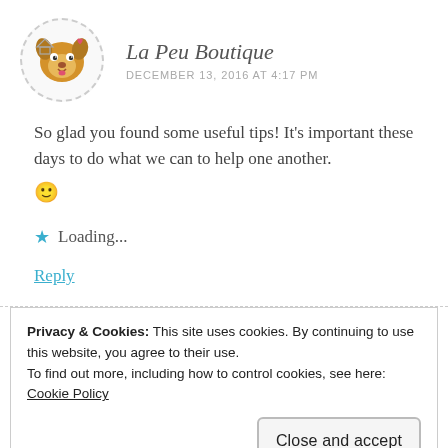[Figure (illustration): Cartoon dog avatar inside a dashed circle border]
La Peu Boutique
DECEMBER 13, 2016 AT 4:17 PM
So glad you found some useful tips! It's important these days to do what we can to help one another. 🙂
Loading...
Reply
Privacy & Cookies: This site uses cookies. By continuing to use this website, you agree to their use.
To find out more, including how to control cookies, see here: Cookie Policy
Close and accept